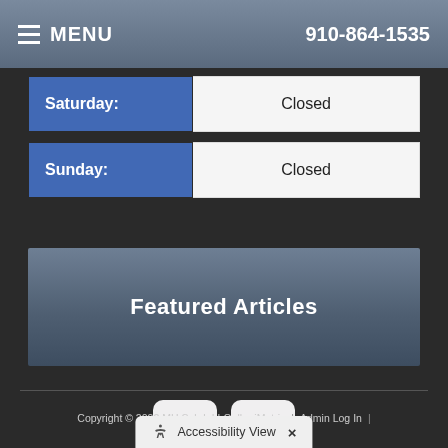MENU | 910-864-1535
| Day | Hours |
| --- | --- |
| Saturday: | Closed |
| Sunday: | Closed |
Featured Articles
[Figure (logo): Facebook and Twitter social media icon buttons]
Copyright © 2022 MH Sub I, LLC dba iMatrix | Admin Log In | Site Map
Accessibility View ×